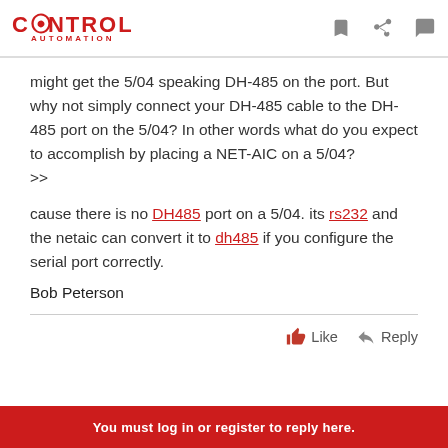CONTROL AUTOMATION
might get the 5/04 speaking DH-485 on the port. But why not simply connect your DH-485 cable to the DH-485 port on the 5/04? In other words what do you expect to accomplish by placing a NET-AIC on a 5/04? >>
cause there is no DH485 port on a 5/04. its rs232 and the netaic can convert it to dh485 if you configure the serial port correctly.
Bob Peterson
Like   Reply
You must log in or register to reply here.